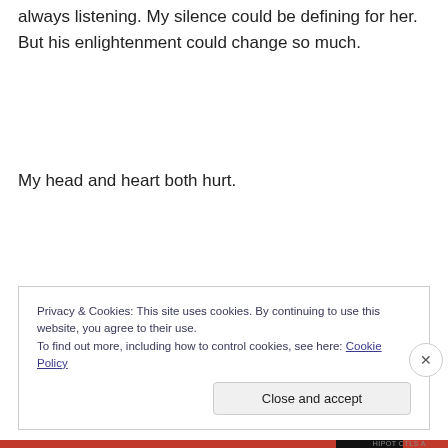always listening. My silence could be defining for her.  But his enlightenment could change so much.
My head and heart both hurt.
Privacy & Cookies: This site uses cookies. By continuing to use this website, you agree to their use.
To find out more, including how to control cookies, see here: Cookie Policy
Close and accept